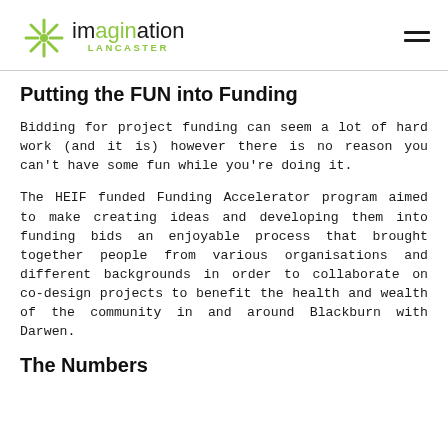Imagination Lancaster
Putting the FUN into Funding
Bidding for project funding can seem a lot of hard work (and it is) however there is no reason you can't have some fun while you're doing it.
The HEIF funded Funding Accelerator program aimed to make creating ideas and developing them into funding bids an enjoyable process that brought together people from various organisations and different backgrounds in order to collaborate on co-design projects to benefit the health and wealth of the community in and around Blackburn with Darwen.
The Numbers